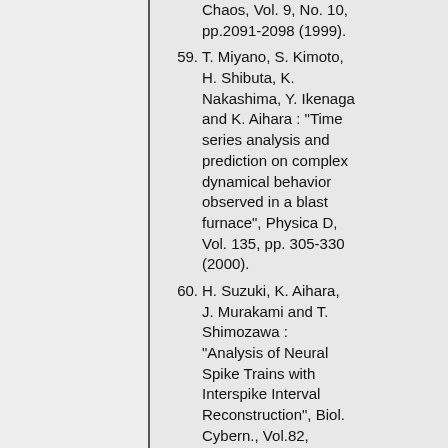(continuation) Chaos, Vol. 9, No. 10, pp.2091-2098 (1999).
59. T. Miyano, S. Kimoto, H. Shibuta, K. Nakashima, Y. Ikenaga and K. Aihara : "Time series analysis and prediction on complex dynamical behavior observed in a blast furnace", Physica D, Vol. 135, pp. 305-330 (2000).
60. H. Suzuki, K. Aihara, J. Murakami and T. Shimozawa : "Analysis of Neural Spike Trains with Interspike Interval Reconstruction", Biol. Cybern., Vol.82, pp.305-311 (2000).
61. K. Kubota, Y. Maeda and K. Aihara : "A Study on the ...